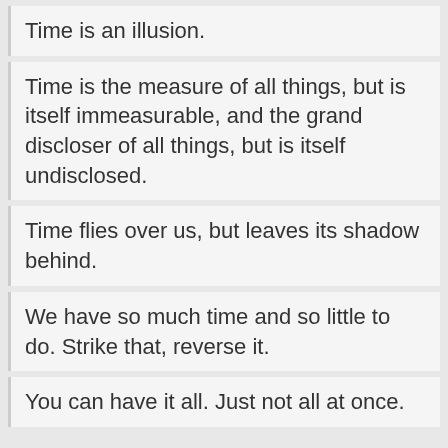Time is an illusion.
Time is the measure of all things, but is itself immeasurable, and the grand discloser of all things, but is itself undisclosed.
Time flies over us, but leaves its shadow behind.
We have so much time and so little to do. Strike that, reverse it.
You can have it all. Just not all at once.